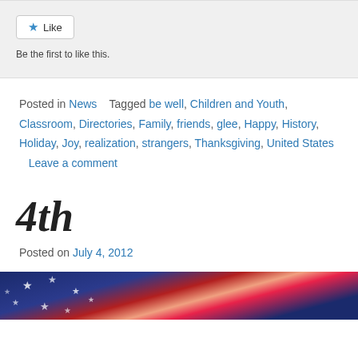[Figure (screenshot): Like button widget with star icon and 'Be the first to like this.' text on a light gray background]
Posted in News   Tagged be well, Children and Youth, Classroom, Directories, Family, friends, glee, Happy, History, Holiday, Joy, realization, strangers, Thanksgiving, United States   Leave a comment
4th
Posted on July 4, 2012
[Figure (photo): Partial photo showing American flag with stars on blue background]